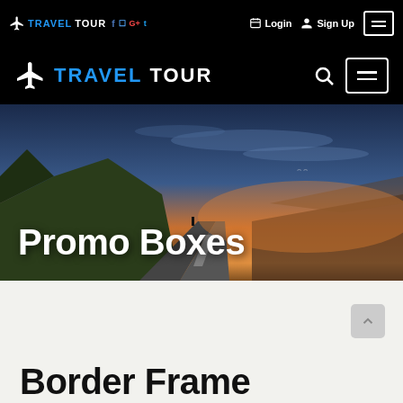TRAVELTOUR — social login strip with Login and Sign Up
TRAVELTOUR — main navigation with search and menu
[Figure (screenshot): Hero image: a winding road through hilly landscape at sunset with dramatic orange and blue sky]
Promo Boxes
Border Frame